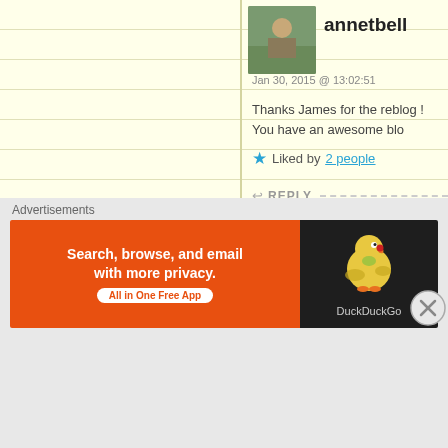annetbell
Jan 30, 2015 @ 13:02:51
Thanks James for the reblog ! You have an awesome blo
Liked by 2 people
REPLY
Mohenjo
Jan 30, 2015 @ 13:12:17
You are very welcome, thanks so much for the comme
Like
REPLY
Advertisements
[Figure (infographic): DuckDuckGo advertisement banner: orange background on left with text 'Search, browse, and email with more privacy. All in One Free App', dark background on right with DuckDuckGo duck logo]